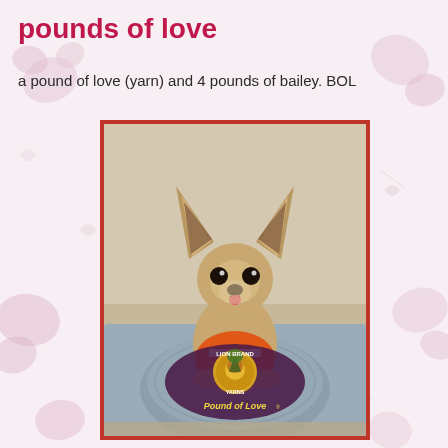pounds of love
a pound of love (yarn) and 4 pounds of bailey. BOL
[Figure (photo): A small Chihuahua dog wearing an orange and white shirt, sitting on a gray couch cushion, holding a skein of gray Lion Brand Pound of Love yarn with its paws. The yarn label is visible with the Lion Brand Yarns logo and 'Pound of Love' text.]